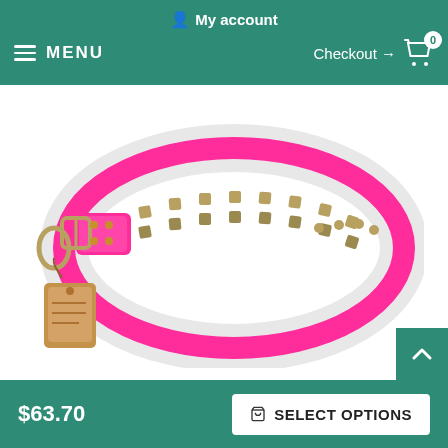My account
MENU  Checkout → 0
[Figure (photo): Pink and white leather dog collar with brass studs and decorative metal square ornaments arranged in two rows, shown on white background with leather hang tag attached]
$63.70
SELECT OPTIONS